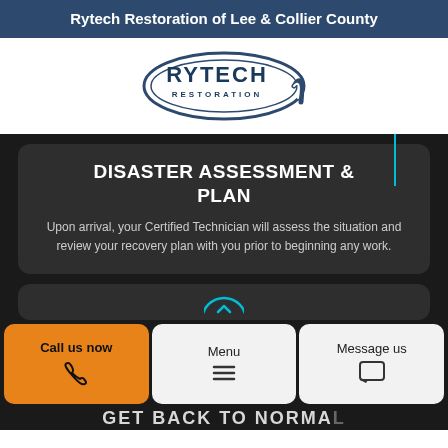Rytech Restoration of Lee & Collier County
[Figure (logo): Rytech Restoration logo — oval shaped badge with RYTECH in large bold letters and RESTORATION below]
DISASTER ASSESSMENT & PLAN
Upon arrival, your Certified Technician will assess the situation and review your recovery plan with you prior to beginning any work.
GET BACK TO NORMAL